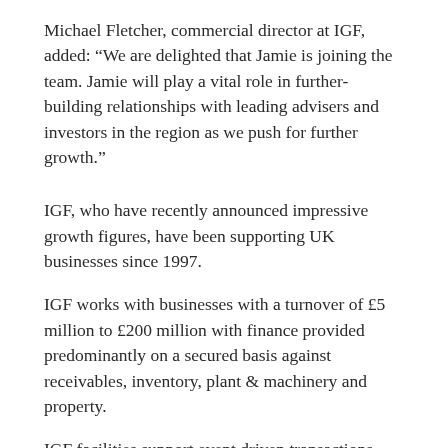Michael Fletcher, commercial director at IGF, added: “We are delighted that Jamie is joining the team. Jamie will play a vital role in further-building relationships with leading advisers and investors in the region as we push for further growth.”
IGF, who have recently announced impressive growth figures, have been supporting UK businesses since 1997.
IGF works with businesses with a turnover of £5 million to £200 million with finance provided predominantly on a secured basis against receivables, inventory, plant & machinery and property.
IGF facilities support event driven transactions such as MBO’s, MBI’s, acquisition and growth.